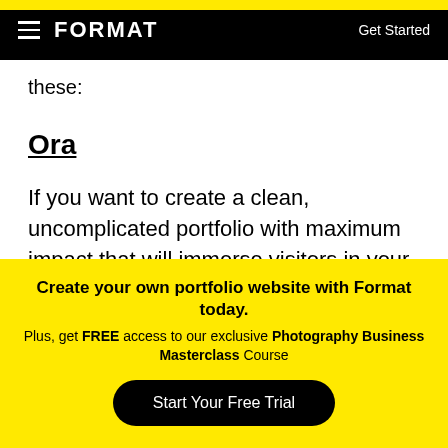FORMAT  |  Get Started
these:
Ora
If you want to create a clean, uncomplicated portfolio with maximum impact that will immerse visitors in your world, Ora is a great choice. The vertical scroll makes navigating through a project easy and pleasant, while the left-hand menu allows you to list all of your projects so visitors can easily find what
Create your own portfolio website with Format today.
Plus, get FREE access to our exclusive Photography Business Masterclass Course
Start Your Free Trial